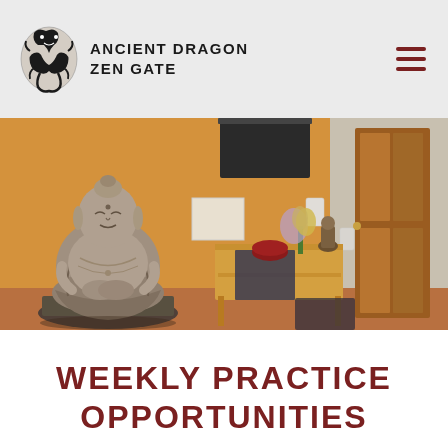Ancient Dragon Zen Gate
[Figure (photo): Interior photo of a Zen meditation room showing a large stone Buddha statue seated in meditation pose on the left, with a wooden altar table in the center holding flowers and a small Buddha figurine, warm orange-painted walls, a wooden door on the right, and a dark hanging scroll on the back wall.]
Weekly Practice Opportunities